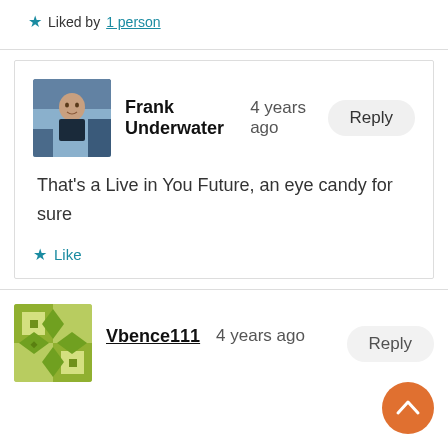★ Liked by 1 person
Frank Underwater  4 years ago  Reply
That's a Live in You Future, an eye candy for sure
★ Like
Vbence111  4 years ago  Reply